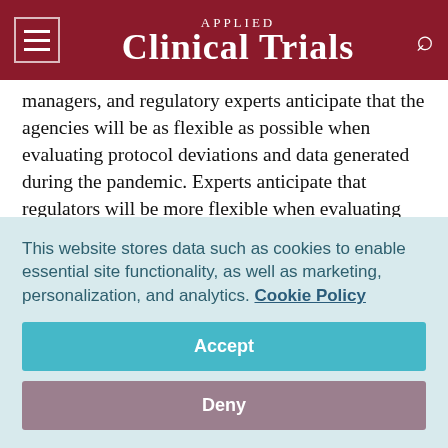Applied Clinical Trials
managers, and regulatory experts anticipate that the agencies will be as flexible as possible when evaluating protocol deviations and data generated during the pandemic. Experts anticipate that regulators will be more flexible when evaluating data relating to secondary and exploratory endpoints than for primary endpoints (where they anticipate little flexibility). They also anticipate that the risk to trials will vary based on the type of primary endpoint. Trials with primary endpoints that are assessed in-person in a way that cannot be
This website stores data such as cookies to enable essential site functionality, as well as marketing, personalization, and analytics. Cookie Policy
Accept
Deny